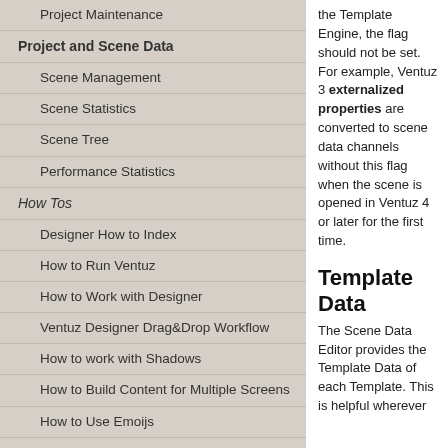Project Maintenance
Project and Scene Data
Scene Management
Scene Statistics
Scene Tree
Performance Statistics
How Tos
Designer How to Index
How to Run Ventuz
How to Work with Designer
Ventuz Designer Drag&Drop Workflow
How to work with Shadows
How to Build Content for Multiple Screens
How to Use Emoijs
How to Build a Template
How to Use the Color Difference Keyer
How To Use the HDR Engine
the Template Engine, the flag should not be set. For example, Ventuz 3 externalized properties are converted to scene data channels without this flag when the scene is opened in Ventuz 4 or later for the first time.
Template Data
The Scene Data Editor provides the Template Data of each Template. This is helpful wherever